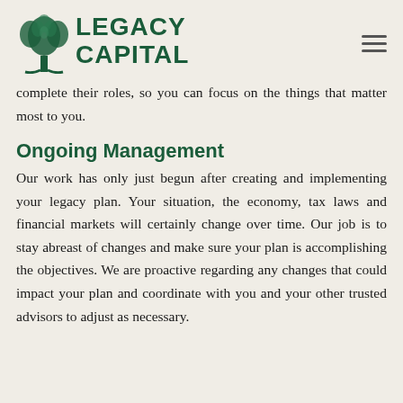[Figure (logo): Legacy Capital logo with stylized tree and bold green text reading LEGACY CAPITAL]
complete their roles, so you can focus on the things that matter most to you.
Ongoing Management
Our work has only just begun after creating and implementing your legacy plan. Your situation, the economy, tax laws and financial markets will certainly change over time. Our job is to stay abreast of changes and make sure your plan is accomplishing the objectives. We are proactive regarding any changes that could impact your plan and coordinate with you and your other trusted advisors to adjust as necessary.